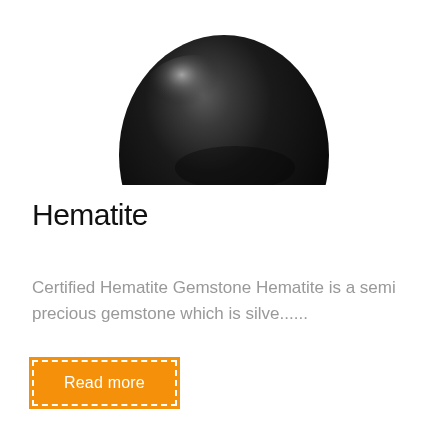[Figure (photo): A shiny dark black/dark grey hematite gemstone, polished and rounded, photographed from above against a white background. Only the bottom portion of the stone is visible as it is cropped at the top.]
Hematite
Certified Hematite Gemstone Hematite is a semi precious gemstone which is silve......
Read more